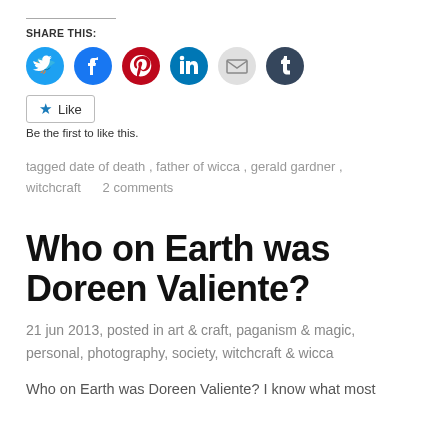SHARE THIS:
[Figure (infographic): Row of six circular social media share buttons: Twitter (light blue), Facebook (blue), Pinterest (red), LinkedIn (dark blue), Email (light grey), Tumblr (dark navy)]
Like
Be the first to like this.
tagged date of death, father of wicca, gerald gardner, witchcraft     2 comments
Who on Earth was Doreen Valiente?
21 jun 2013, posted in art & craft, paganism & magic, personal, photography, society, witchcraft & wicca
Who on Earth was Doreen Valiente?  I know what most